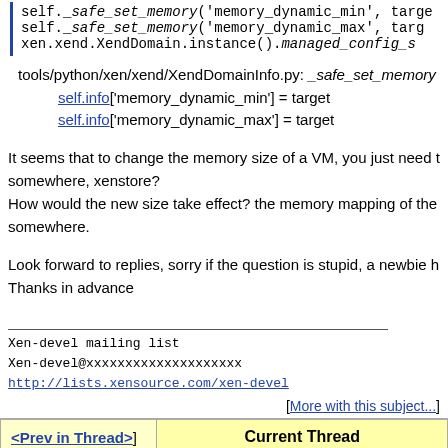self._safe_set_memory('memory_dynamic_min', targe
self._safe_set_memory('memory_dynamic_max', targ
xen.xend.XendDomain.instance().managed_config_s
tools/python/xen/xend/XendDomainInfo.py: _safe_set_memory
self.info['memory_dynamic_min'] = target
self.info['memory_dynamic_max'] = target
It seems that to change the memory size of a VM, you just need to somewhere, xenstore?
How would the new size take effect? the memory mapping of the somewhere.
Look forward to replies, sorry if the question is stupid, a newbie h
Thanks in advance
Xen-devel mailing list
Xen-devel@xxxxxxxxxxxxxxxxxxxx
http://lists.xensource.com/xen-devel
[More with this subject...]
| <Prev in Thread> | Current Thread |
| --- | --- |